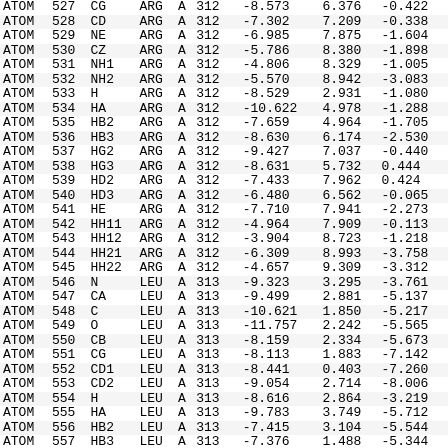| type | serial | name | res | chain | resSeq |  | x | y | z |
| --- | --- | --- | --- | --- | --- | --- | --- | --- | --- |
| ATOM | 527 | CG | ARG | A | 312 |  | -8.573 | 6.376 | -0.422 |
| ATOM | 528 | CD | ARG | A | 312 |  | -7.302 | 7.209 | -0.338 |
| ATOM | 529 | NE | ARG | A | 312 |  | -6.985 | 7.875 | -1.604 |
| ATOM | 530 | CZ | ARG | A | 312 |  | -5.786 | 8.380 | -1.898 |
| ATOM | 531 | NH1 | ARG | A | 312 |  | -4.806 | 8.329 | -1.005 |
| ATOM | 532 | NH2 | ARG | A | 312 |  | -5.570 | 8.942 | -3.083 |
| ATOM | 533 | H | ARG | A | 312 |  | -8.529 | 2.931 | -1.080 |
| ATOM | 534 | HA | ARG | A | 312 |  | -10.622 | 4.978 | -1.288 |
| ATOM | 535 | HB2 | ARG | A | 312 |  | -7.659 | 4.964 | -1.705 |
| ATOM | 536 | HB3 | ARG | A | 312 |  | -8.630 | 6.174 | -2.530 |
| ATOM | 537 | HG2 | ARG | A | 312 |  | -9.427 | 7.037 | -0.440 |
| ATOM | 538 | HG3 | ARG | A | 312 |  | -8.631 | 5.732 | 0.444 |
| ATOM | 539 | HD2 | ARG | A | 312 |  | -7.433 | 7.962 | 0.424 |
| ATOM | 540 | HD3 | ARG | A | 312 |  | -6.480 | 6.562 | -0.065 |
| ATOM | 541 | HE | ARG | A | 312 |  | -7.710 | 7.941 | -2.273 |
| ATOM | 542 | HH11 | ARG | A | 312 |  | -4.964 | 7.909 | -0.113 |
| ATOM | 543 | HH12 | ARG | A | 312 |  | -3.904 | 8.723 | -1.218 |
| ATOM | 544 | HH21 | ARG | A | 312 |  | -6.309 | 8.993 | -3.758 |
| ATOM | 545 | HH22 | ARG | A | 312 |  | -4.657 | 9.309 | -3.312 |
| ATOM | 546 | N | LEU | A | 313 |  | -9.323 | 3.295 | -3.761 |
| ATOM | 547 | CA | LEU | A | 313 |  | -9.499 | 2.881 | -5.137 |
| ATOM | 548 | C | LEU | A | 313 |  | -10.621 | 1.850 | -5.217 |
| ATOM | 549 | O | LEU | A | 313 |  | -11.757 | 2.242 | -5.565 |
| ATOM | 550 | CB | LEU | A | 313 |  | -8.159 | 2.334 | -5.673 |
| ATOM | 551 | CG | LEU | A | 313 |  | -8.113 | 1.883 | -7.142 |
| ATOM | 552 | CD1 | LEU | A | 313 |  | -8.441 | 0.403 | -7.260 |
| ATOM | 553 | CD2 | LEU | A | 313 |  | -9.054 | 2.714 | -8.006 |
| ATOM | 554 | H | LEU | A | 313 |  | -8.616 | 2.864 | -3.219 |
| ATOM | 555 | HA | LEU | A | 313 |  | -9.783 | 3.749 | -5.712 |
| ATOM | 556 | HB2 | LEU | A | 313 |  | -7.415 | 3.104 | -5.544 |
| ATOM | 557 | HB3 | LEU | A | 313 |  | -7.376 | 1.488 | -5.344 |